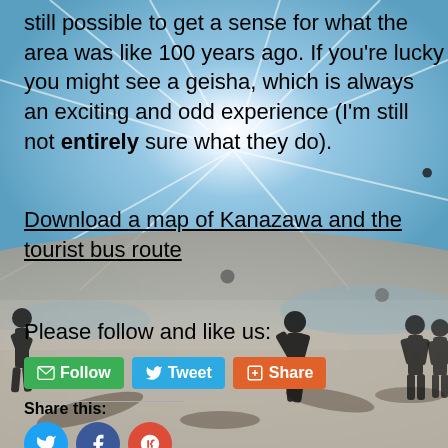[Figure (photo): Background photo of silhouetted people playing on a bright sunny flat desert landscape with sunburst effect in sky]
still possible to get a sense for what the area was like 100 years ago. If you're lucky you might see a geisha, which is always an exciting and odd experience (I'm still not entirely sure what they do).
Download a map of Kanazawa and the tourist bus route
Please follow and like us:
Share this: